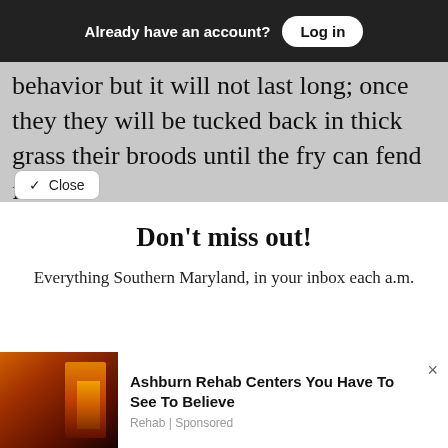Already have an account? Log in
behavior but it will not last long; once they they will be tucked back in thick grass their broods until the fry can fend for
Close
Don't miss out!
Everything Southern Maryland, in your inbox each a.m.
Free Newsletters 1
Daily Digest
A roundup of the latest news
Ashburn Rehab Centers You Have To See To Believe
Rehab | Sponsored